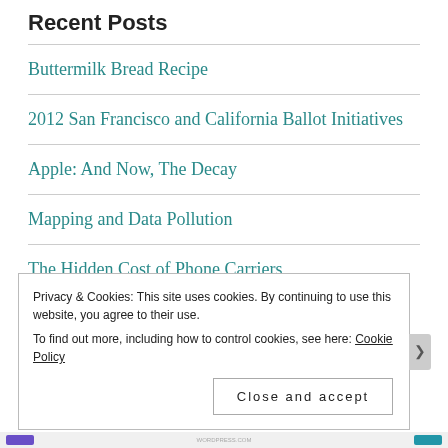Recent Posts
Buttermilk Bread Recipe
2012 San Francisco and California Ballot Initiatives
Apple: And Now, The Decay
Mapping and Data Pollution
The Hidden Cost of Phone Carriers
Privacy & Cookies: This site uses cookies. By continuing to use this website, you agree to their use. To find out more, including how to control cookies, see here: Cookie Policy